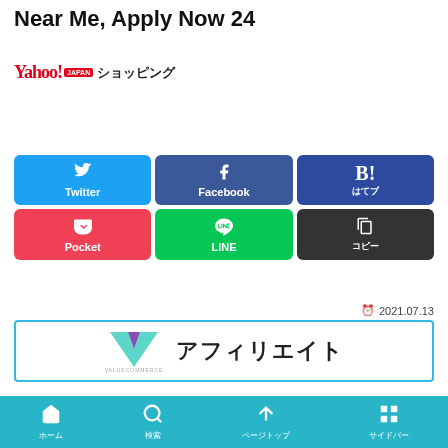Near Me, Apply Now 24
[Figure (logo): Yahoo! JAPAN ショッピング logo]
[Figure (infographic): Social share buttons: Twitter, Facebook, はてブ, Pocket, LINE, コピー]
2021.07.13
[Figure (logo): ValueCommerce アフィリエイト banner with teal border]
ホーム　検索　ページトップ　サイドバー